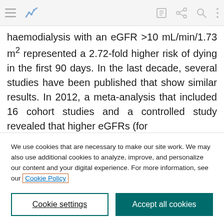[Toolbar with menu, chart, edit, share, search, more icons]
haemodialysis with an eGFR >10 mL/min/1.73 m² represented a 2.72-fold higher risk of dying in the first 90 days. In the last decade, several studies have been published that show similar results. In 2012, a meta-analysis that included 16 cohort studies and a controlled study revealed that higher eGFRs (for
We use cookies that are necessary to make our site work. We may also use additional cookies to analyze, improve, and personalize our content and your digital experience. For more information, see our Cookie Policy
Cookie settings
Accept all cookies